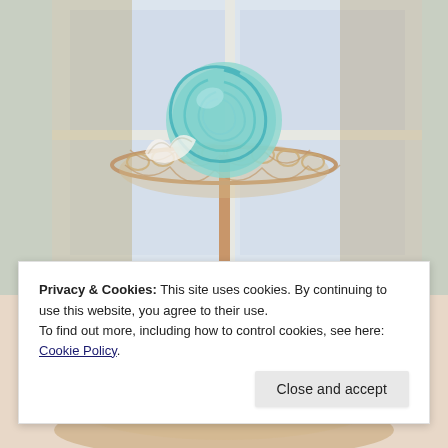[Figure (photo): A two-tiered gold wire basket stand filled with colorful swirled meringue cookies. The top tier holds a large teal/blue swirled meringue, and the lower tier is filled with pink and red striped meringue cookies. Background shows a bright window and a blurred indoor setting.]
Privacy & Cookies: This site uses cookies. By continuing to use this website, you agree to their use.
To find out more, including how to control cookies, see here: Cookie Policy
Close and accept